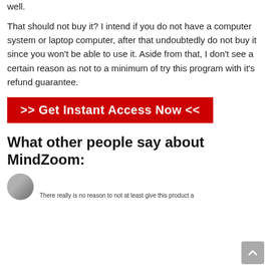well.
That should not buy it? I intend if you do not have a computer system or laptop computer, after that undoubtedly do not buy it since you won't be able to use it. Aside from that, I don't see a certain reason as not to a minimum of try this program with it's refund guarantee.
[Figure (other): Red call-to-action button with white bold text: >> Get Instant Access Now <<]
What other people say about MindZoom:
There really is no reason to not at least give this product a